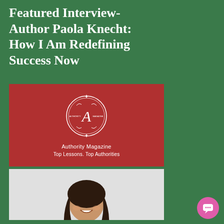Featured Interview- Author Paola Knecht: How I Am Redefining Success Now
[Figure (logo): Authority Magazine logo on red background: decorative circle with letter A in center, text 'Authority Magazine' and 'Top Lessons. Top Authorities' below]
[Figure (photo): Headshot of a woman with long dark wavy hair wearing a blue top, smiling, photographed against a light grey background]